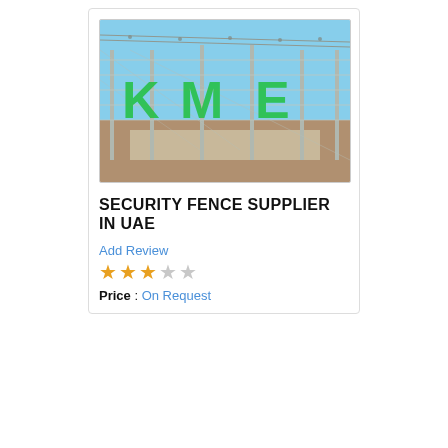[Figure (photo): Photo of a security fence with green letters/signage (K, M, E visible) against a blue sky background. Barbed wire fencing shown outdoors.]
SECURITY FENCE SUPPLIER IN UAE
Add Review
★★★☆☆
Price : On Request